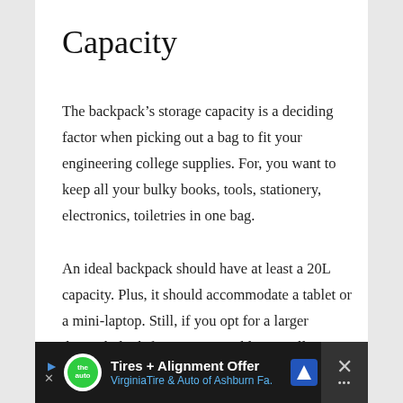Capacity
The backpack’s storage capacity is a deciding factor when picking out a bag to fit your engineering college supplies. For, you want to keep all your bulky books, tools, stationery, electronics, toiletries in one bag.
An ideal backpack should have at least a 20L capacity. Plus, it should accommodate a tablet or a mini-laptop. Still, if you opt for a larger daypack, look for a compressible one, allowing you to fold it to a smaller size when you have lesser items.
[Figure (infographic): Advertisement banner at bottom: Tires + Alignment Offer from VirginiaTire & Auto of Ashburn Fa. with logo, navigation icon, and close button on dark background.]